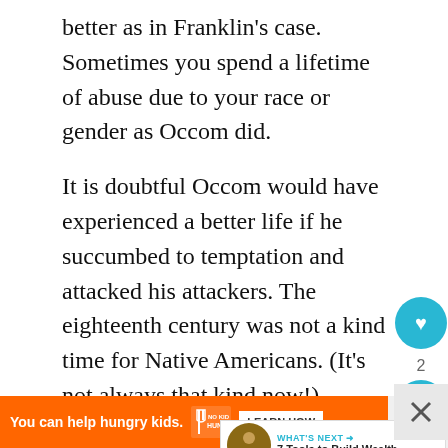better as in Franklin's case. Sometimes you spend a lifetime of abuse due to your race or gender as Occom did.
It is doubtful Occom would have experienced a better life if he succumbed to temptation and attacked his attackers. The eighteenth century was not a kind time for Native Americans. (It's not always that kind now!) Occom wasn't the only Indian to suffer racism. What hurt the deepest was how hard he worked helping white man and getting no respect for his efforts. Wheelock should have known from the beginning he was using Occom to raise money on false pretenses.
[Figure (screenshot): Web page UI overlay: heart/like button (teal circle with heart icon, count of 2), share button (teal circle with share icon), 'What's Next' widget showing '7 Tools to Build Wealth...' with a circular thumbnail image]
[Figure (screenshot): Orange advertisement banner: 'You can help hungry kids.' with No Kid Hungry logo and 'LEARN HOW' button. Close X buttons on right side.]